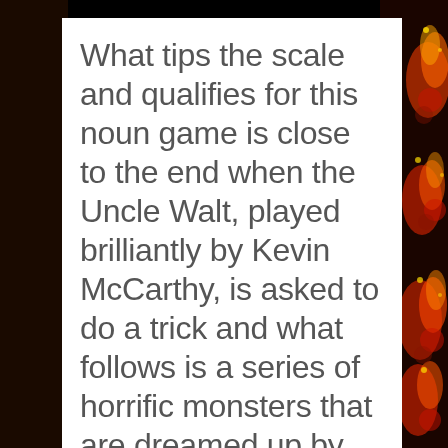What tips the scale and qualifies for this noun game is close to the end when the Uncle Walt, played brilliantly by Kevin McCarthy, is asked to do a trick and what follows is a series of horrific monsters that are dreamed up by this sadistic little asshole. And